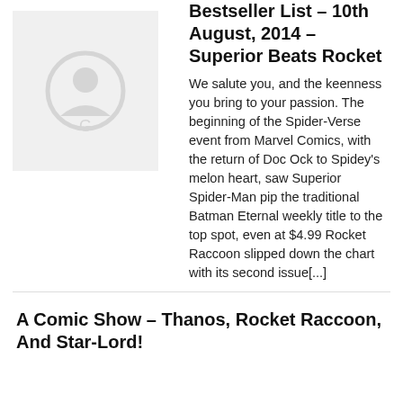Bestseller List – 10th August, 2014 – Superior Beats Rocket
[Figure (logo): Placeholder thumbnail image with a faint logo/icon on light gray background]
We salute you, and the keenness you bring to your passion. The beginning of the Spider-Verse event from Marvel Comics, with the return of Doc Ock to Spidey's melon heart, saw Superior Spider-Man pip the traditional Batman Eternal weekly title to the top spot, even at $4.99 Rocket Raccoon slipped down the chart with its second issue[...]
A Comic Show – Thanos, Rocket Raccoon, And Star-Lord!